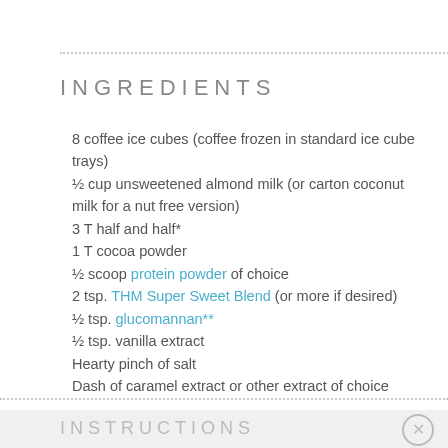INGREDIENTS
8 coffee ice cubes (coffee frozen in standard ice cube trays)
½ cup unsweetened almond milk (or carton coconut milk for a nut free version)
3 T half and half*
1 T cocoa powder
½ scoop protein powder of choice
2 tsp. THM Super Sweet Blend (or more if desired)
½ tsp. glucomannan**
½ tsp. vanilla extract
Hearty pinch of salt
Dash of caramel extract or other extract of choice
INSTRUCTIONS